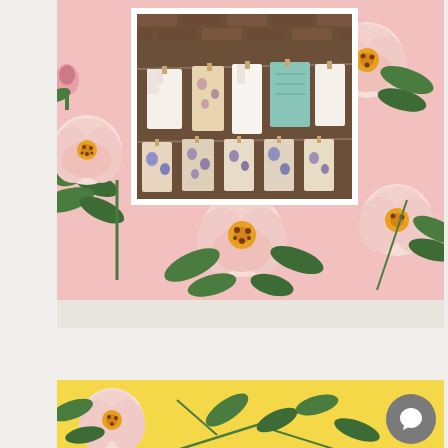[Figure (photo): Pink floral background with botanical rose illustrations and a centered photo inset showing white garments and floral textiles hanging on a clothesline against a brick wall background]
[Figure (photo): Yellow background with botanical rose/floral illustrations partially visible at the bottom of the page, with a circular gray chat button overlay in the lower right]